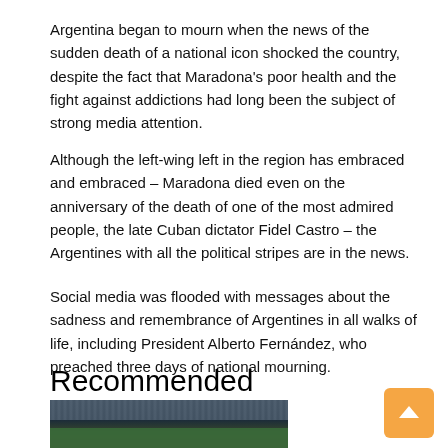Argentina began to mourn when the news of the sudden death of a national icon shocked the country, despite the fact that Maradona's poor health and the fight against addictions had long been the subject of strong media attention.
Although the left-wing left in the region has embraced and embraced – Maradona died even on the anniversary of the death of one of the most admired people, the late Cuban dictator Fidel Castro – the Argentines with all the political stripes are in the news.
Social media was flooded with messages about the sadness and remembrance of Argentines in all walks of life, including President Alberto Fernández, who preached three days of national mourning.
Recommended
[Figure (photo): A photograph of a soccer player (Maradona) heading a ball on a football pitch with a crowd in the background.]